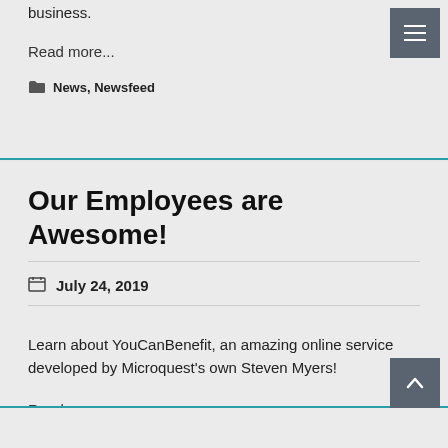business.
Read more...
News, Newsfeed
Our Employees are Awesome!
July 24, 2019
Learn about YouCanBenefit, an amazing online service developed by Microquest's own Steven Myers!
Read more...
News, Newsfeed